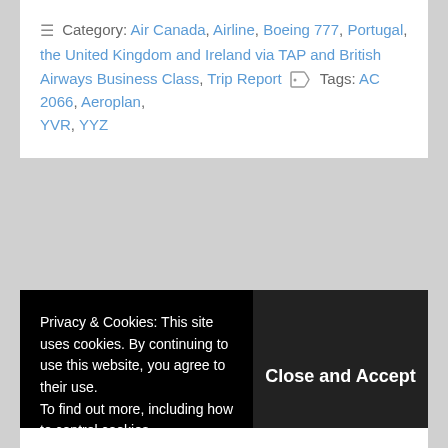Category: Air Canada, Airline, Boeing 777, Portugal, the United Kingdom and Ireland via TAP and British Airways Business Class, Trip Report  Tags: AC 2066, Aeroplan, YVR, YYZ
Leave a Reply
Your email address will not be published. Required fields are marked *
Privacy & Cookies: This site uses cookies. By continuing to use this website, you agree to their use. To find out more, including how to control cookies,
Close and Accept